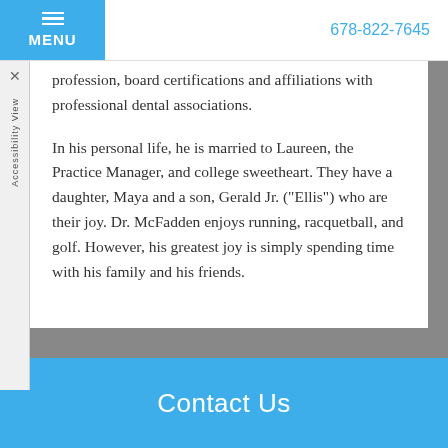MENU  678-822-7645
profession, board certifications and affiliations with professional dental associations.
In his personal life, he is married to Laureen, the Practice Manager, and college sweetheart. They have a daughter, Maya and a son, Gerald Jr. ("Ellis") who are their joy. Dr. McFadden enjoys running, racquetball, and golf. However, his greatest joy is simply spending time with his family and his friends.
Contact Us